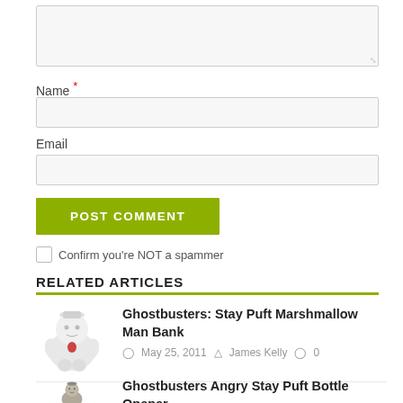[textarea input box]
Name *
[name input box]
Email
[email input box]
POST COMMENT
Confirm you're NOT a spammer
RELATED ARTICLES
Ghostbusters: Stay Puft Marshmallow Man Bank
May 25, 2011   James Kelly   0
Ghostbusters Angry Stay Puft Bottle Opener